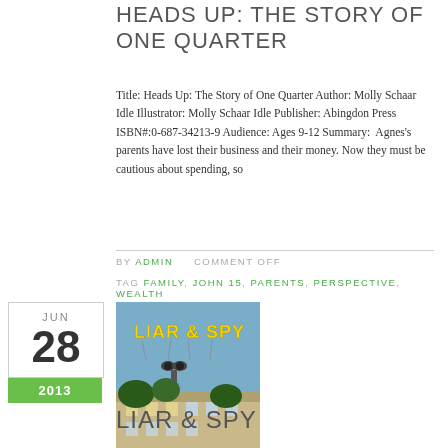HEADS UP: THE STORY OF ONE QUARTER
Title: Heads Up: The Story of One Quarter Author: Molly Schaar Idle Illustrator: Molly Schaar Idle Publisher: Abingdon Press ISBN#:0-687-34213-9 Audience: Ages 9-12 Summary: Agnes's parents have lost their business and their money. Now they must be cautious about spending, so
BY ADMIN     COMMENT OFF
TAG FAMILY, JOHN 15, PARENTS, PERSPECTIVE, WEALTH
JUN 28 2013
[Figure (photo): Book cover of Liar & Spy showing yellow balloon letters spelling LIAR & SPY against a blue sky with a building below]
LIAR & SPY